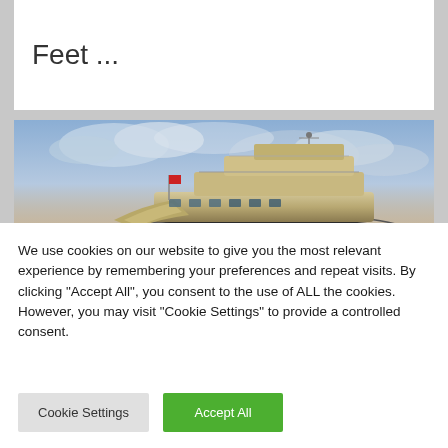Feet ...
[Figure (photo): A large luxury yacht photographed from the side on open water, with dramatic cloudy sky in the background. The yacht features a distinctive curved hull and multiple decks.]
We use cookies on our website to give you the most relevant experience by remembering your preferences and repeat visits. By clicking "Accept All", you consent to the use of ALL the cookies. However, you may visit "Cookie Settings" to provide a controlled consent.
Cookie Settings
Accept All